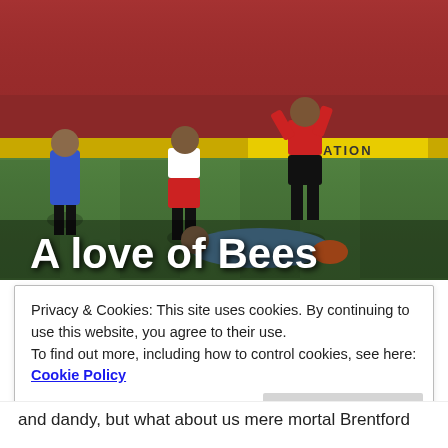[Figure (photo): Football match photo showing Brentford players in red and white striped kits competing against Cardiff City players in blue, with a goalkeeper on the ground. The text 'A love of Bees' overlays the bottom of the image. Advertising boards and crowd visible in background.]
Privacy & Cookies: This site uses cookies. By continuing to use this website, you agree to their use.
To find out more, including how to control cookies, see here: Cookie Policy
and dandy, but what about us mere mortal Brentford